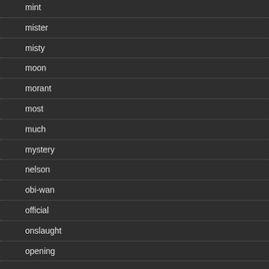mint
mister
misty
moon
morant
most
much
mystery
nelson
obi-wan
official
onslaught
opening